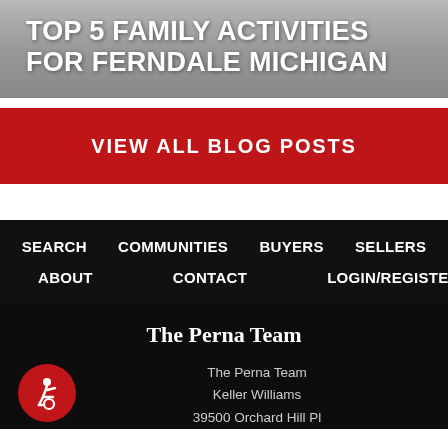TOP 5 FAMILY ACTIVITIES FOR FERNDALE MICHIGAN
VIEW ALL BLOG POSTS
SEARCH   COMMUNITIES   BUYERS   SELLERS   ABOUT   CONTACT   LOGIN/REGISTER
The Perna Team
The Perna Team
Keller Williams
39500 Orchard Hill Pl
[Figure (logo): Accessibility icon: person in wheelchair symbol in white on red circular background]